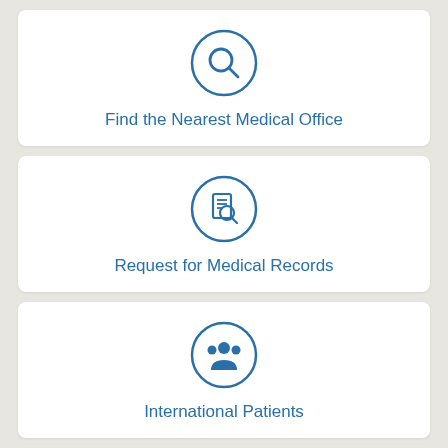[Figure (infographic): Card with magnifying glass search icon in a circle, labeled 'Find the Nearest Medical Office']
Find the Nearest Medical Office
[Figure (infographic): Card with document search icon in a circle, labeled 'Request for Medical Records']
Request for Medical Records
[Figure (infographic): Card with group/people icon in a circle, labeled 'International Patients']
International Patients
[Figure (infographic): Card with info icon in a circle (partially visible at bottom)]